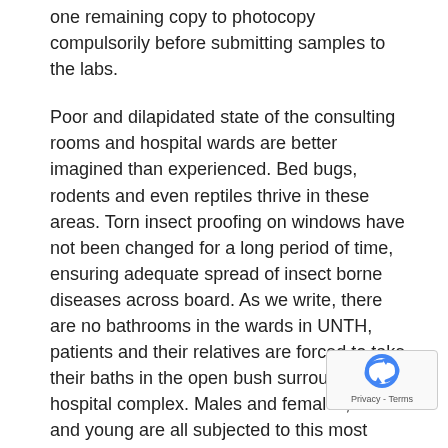one remaining copy to photocopy compulsorily before submitting samples to the labs.
Poor and dilapidated state of the consulting rooms and hospital wards are better imagined than experienced. Bed bugs, rodents and even reptiles thrive in these areas. Torn insect proofing on windows have not been changed for a long period of time, ensuring adequate spread of insect borne diseases across board. As we write, there are no bathrooms in the wards in UNTH, patients and their relatives are forced to take their baths in the open bush surrounding the hospital complex. Males and females, old and young are all subjected to this most dehumanizing condition. Patient relatives who come in healthy most times go home with malaria and other contagious diseases.
With a heavy heart, we inform Nigerians that as at today, there is no available running water in the major areas of the hospital. For example, the general and private wards, clinics and laboratories, despite the much ado by the hospital management that they have sunk ultra-modern boreholes in the hospital, do not have available running water. Even theatres do not have access to running water as such scrubbing before surgeries are improvised in a hospital